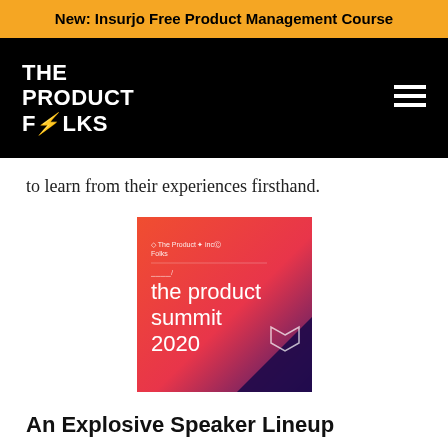New: Insurjo Free Product Management Course
[Figure (logo): The Product Folks logo in white on black background with hamburger menu icon]
to learn from their experiences firsthand.
[Figure (illustration): The Product Summit 2020 promotional image with gradient red/orange to purple background, showing logos of The Product Folks and Inc42, and text 'the product summit 2020']
An Explosive Speaker Lineup